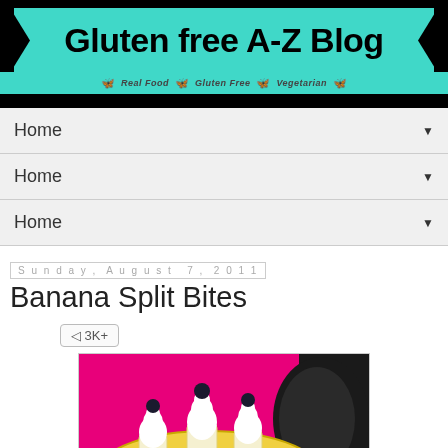[Figure (logo): Gluten free A-Z Blog banner with teal ribbon on black background, subtitle: Real Food, Gluten Free, Vegetarian with butterfly decorations]
Home ▼
Home ▼
Home ▼
Sunday, August 7, 2011
Banana Split Bites
3K+
[Figure (photo): Photo of banana split bites on a yellow plate against a pink and black background. Small banana pieces topped with whipped cream and dark cherries with sprinkles.]